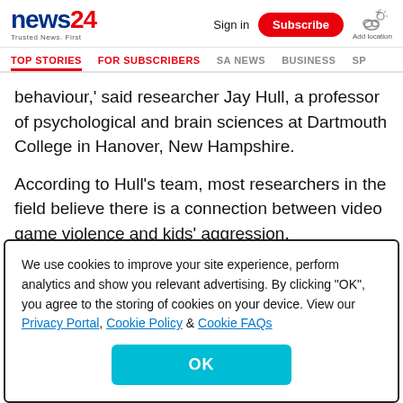news24 - Trusted News. First | Sign in | Subscribe | Add location
TOP STORIES | FOR SUBSCRIBERS | SA NEWS | BUSINESS | SP...
behaviour,' said researcher Jay Hull, a professor of psychological and brain sciences at Dartmouth College in Hanover, New Hampshire.
According to Hull's team, most researchers in the field believe there is a connection between video game violence and kids' aggression.
We use cookies to improve your site experience, perform analytics and show you relevant advertising. By clicking "OK", you agree to the storing of cookies on your device. View our Privacy Portal, Cookie Policy & Cookie FAQs